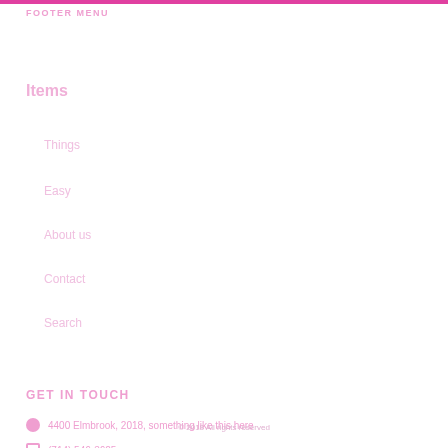FOOTER MENU
Items
Things
Easy
About us
Contact
Search
GET IN TOUCH
4400 Elmbrook, 2018, something like this here
(714) 546-3625
hello@ourthing.com
© 2018 All rights reserved